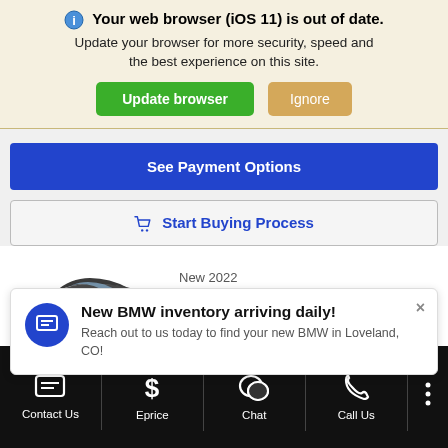Your web browser (iOS 11) is out of date. Update your browser for more security, speed and the best experience on this site.
Update browser | Ignore
See Payment Options
🛒 Start Buying Process
New 2022
BMW 4 Series M440i xDrive
[Figure (illustration): Partial view of a dark BMW 4 Series car from the rear/side angle]
New BMW inventory arriving daily! Reach out to us today to find your new BMW in Loveland, CO!
Contact Us | Eprice | Chat | Call Us | more options